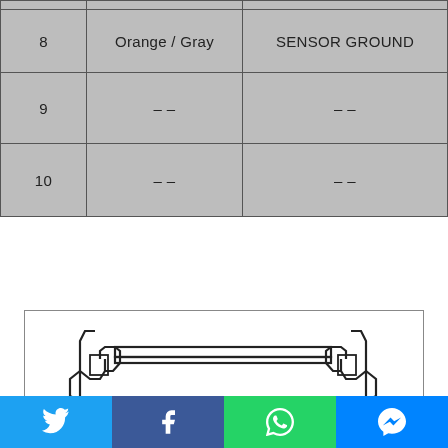| Pin | Wire Color | Function |
| --- | --- | --- |
| 8 | Orange / Gray | SENSOR GROUND |
| 9 | – – | – – |
| 10 | – – | – – |
[Figure (engineering-diagram): Cross-section technical drawing of a connector or clamp mechanism, showing a symmetric housing with two side clips and a central flat body, drawn in black lines on white background.]